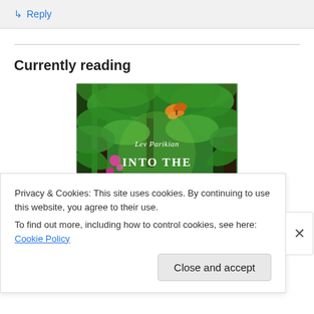↳ Reply
Currently reading
[Figure (illustration): Book cover of 'Into the Tangled Bank' by Lev Parikian — green jungle/forest scene with tropical plants, flowers, tree trunks, and a butterfly; white text reads 'Lev Parikian' and 'INTO THE TANGLED BANK']
Privacy & Cookies: This site uses cookies. By continuing to use this website, you agree to their use.
To find out more, including how to control cookies, see here: Cookie Policy
Close and accept